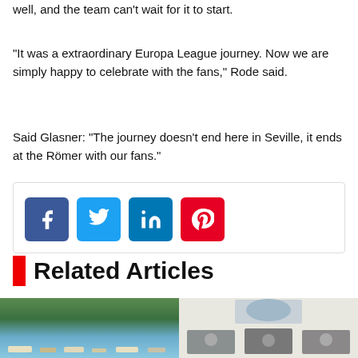well, and the team can't wait for it to start.
“It was a extraordinary Europa League journey. Now we are simply happy to celebrate with the fans,” Rode said.
Said Glasner: “The journey doesn’t end here in Seville, it ends at the Römer with our fans.”
[Figure (infographic): Social share buttons: Facebook, Twitter, LinkedIn, Pinterest]
Related Articles
[Figure (photo): Photo of boats on water with mountains in background]
[Figure (photo): Photo of three men seated at a table with a coat of arms on the wall behind them]